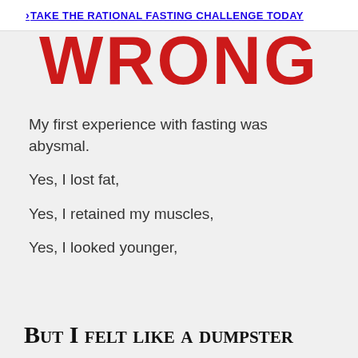TAKE THE RATIONAL FASTING CHALLENGE TODAY
WRONG
My first experience with fasting was abysmal.
Yes, I lost fat,
Yes, I retained my muscles,
Yes, I looked younger,
But I felt like a dumpster